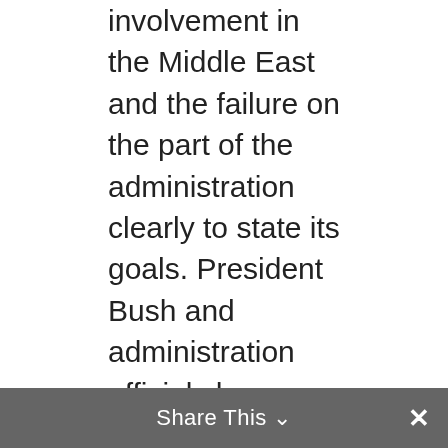involvement in the Middle East and the failure on the part of the administration clearly to state its goals. President Bush and administration officials have done little to clarify either of these points. Indeed the rationales offered for the steady expansion of US presence have often been misleading and sometimes even contradictory. Early statements that US forces had been deployed for the defense of Saudi Arabia or the enforcement of UN sanctions have been supplanted by suggestions of broader goals, including expulsion of Iraqi forces from Kuwait by military means, or, even offensive action against Iraq itself. The nation still has not been told in clear and certain terms what would be
Share This ∨  ✕